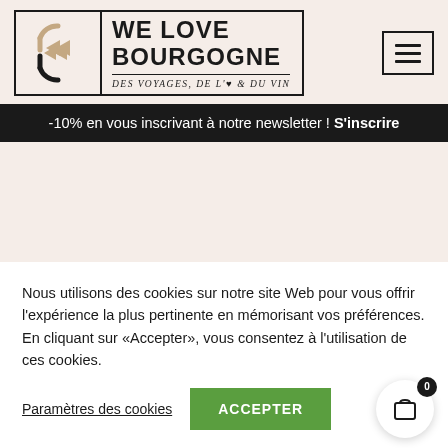[Figure (logo): We Love Bourgogne logo with stylized arrow icon and tagline 'DES VOYAGES, DE L'♥ & DU VIN']
-10% en vous inscrivant à notre newsletter ! S'inscrire
Nous utilisons des cookies sur notre site Web pour vous offrir l'expérience la plus pertinente en mémorisant vos préférences. En cliquant sur «Accepter», vous consentez à l'utilisation de ces cookies.
Paramètres des cookies   ACCEPTER